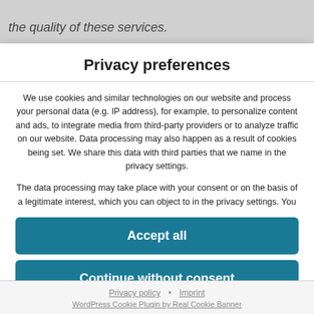the quality of these services.
Privacy preferences
We use cookies and similar technologies on our website and process your personal data (e.g. IP address), for example, to personalize content and ads, to integrate media from third-party providers or to analyze traffic on our website. Data processing may also happen as a result of cookies being set. We share this data with third parties that we name in the privacy settings.
The data processing may take place with your consent or on the basis of a legitimate interest, which you can object to in the privacy settings. You
Accept all
Continue without consent
Set privacy settings individually
Privacy policy • Imprint
WordPress Cookie Plugin by Real Cookie Banner